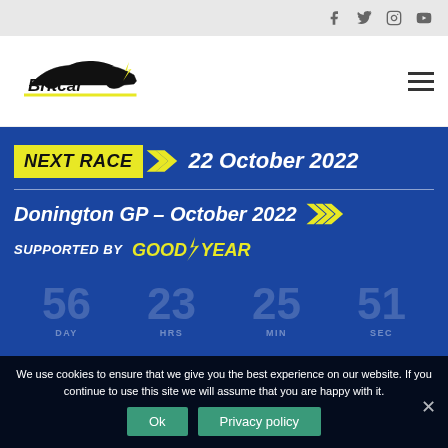Social icons: Facebook, Twitter, Instagram, YouTube
[Figure (logo): Britcar logo with stylized car silhouette and yellow accent stripe, bold italic text 'Britcar']
NEXT RACE >> 22 October 2022
Donington GP – October 2022
SUPPORTED BY GOODYEAR
56 23 25 1 (countdown: DAY HRS MIN SEC)
We use cookies to ensure that we give you the best experience on our website. If you continue to use this site we will assume that you are happy with it.
Ok  Privacy policy